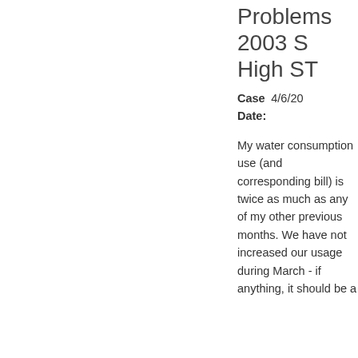Problems 2003 S High ST
Case Date: 4/6/20
My water consumption use (and corresponding bill) is twice as much as any of my other previous months. We have not increased our usage during March - if anything, it should be a